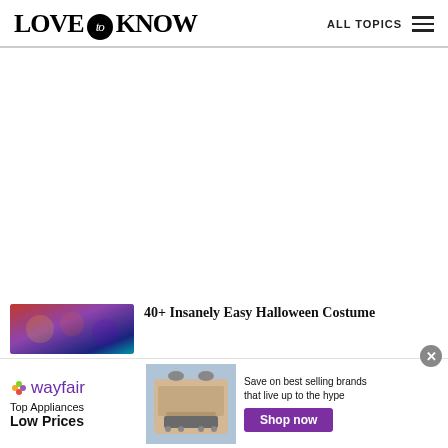LOVE to KNOW | ALL TOPICS
[Figure (screenshot): Large white/empty content area below header]
[Figure (photo): Colorful Halloween costume image thumbnail on left side]
40+ Insanely Easy Halloween Costume
[Figure (screenshot): Wayfair advertisement banner: Top Appliances Low Prices, with stove image, Save on best selling brands that live up to the hype, Shop now button]